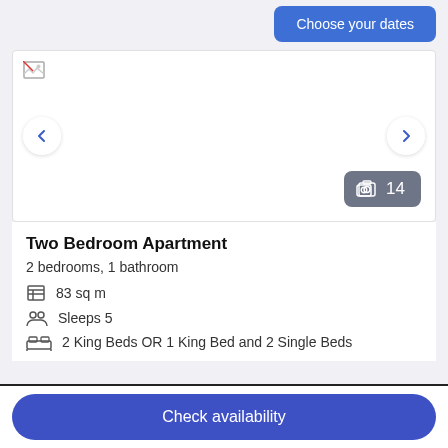[Figure (screenshot): Choose your dates button (blue rounded rectangle) in top right area]
[Figure (photo): Apartment listing image carousel with broken image placeholder, left/right navigation arrows, and photo count badge showing 14]
Two Bedroom Apartment
2 bedrooms, 1 bathroom
83 sq m
Sleeps 5
2 King Beds OR 1 King Bed and 2 Single Beds
[Figure (screenshot): Check availability button (blue rounded rectangle) at the bottom]